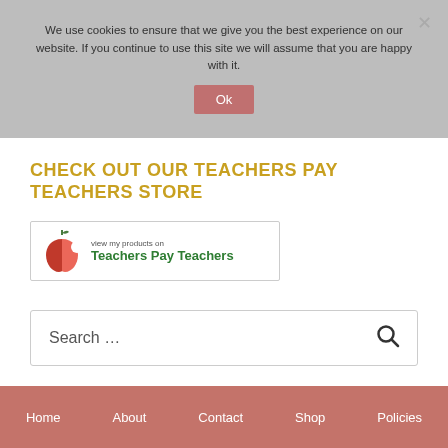We use cookies to ensure that we give you the best experience on our website. If you continue to use this site we will assume that you are happy with it.
Ok
CHECK OUT OUR TEACHERS PAY TEACHERS STORE
[Figure (logo): Teachers Pay Teachers banner logo with apple icon and text 'view my products on Teachers Pay Teachers']
Search ...
Home   About   Contact   Shop   Policies